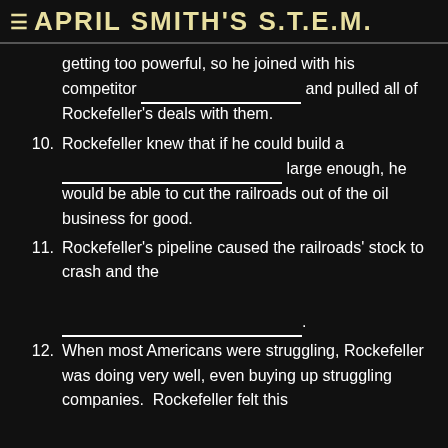APRIL SMITH'S S.T.E.M.
getting too powerful, so he joined with his competitor ___________ and pulled all of Rockefeller's deals with them.
10. Rockefeller knew that if he could build a ___________ large enough, he would be able to cut the railroads out of the oil business for good.
11. Rockefeller's pipeline caused the railroads' stock to crash and the ___________.
12. When most Americans were struggling, Rockefeller was doing very well, even buying up struggling companies. Rockefeller felt this